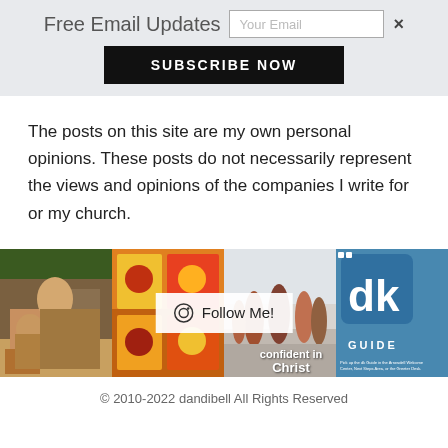Free Email Updates
SUBSCRIBE NOW
The posts on this site are my own personal opinions. These posts do not necessarily represent the views and opinions of the companies I write for or my church.
[Figure (photo): Instagram photo grid with four panels showing: a man reading to a child, colorful painted art books, children in a gym/activity class, and a 'dk GUIDE' logo. A 'Follow Me!' overlay button appears in the center.]
© 2010-2022 dandibell All Rights Reserved